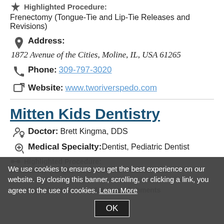Highlighted Procedure:
Frenectomy (Tongue-Tie and Lip-Tie Releases and Revisions)
Address: 1872 Avenue of the Cities, Moline, IL, USA 61265
Phone: 309-797-3020
Website: www.tworiverspedo.com
Mitten Kids Dentistry
Doctor: Brett Kingma, DDS
Medical Specialty: Dentist, Pediatric Dentist
Highlighted Procedure:
Frenectomy (Tongue-Tie and Lip-Tie Releases and Revisions)
Highlighted Training & Accomplishments
We use cookies to ensure you get the best experience on our website. By closing this banner, scrolling, or clicking a link, you agree to the use of cookies. Learn More OK